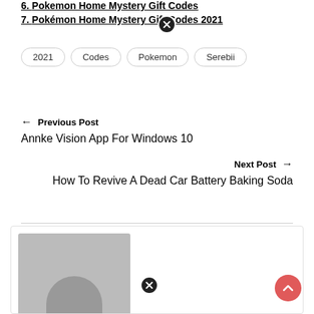6. Pokemon Home Mystery Gift Codes
7. Pokémon Home Mystery Gift Codes 2021
Tags: 2021  Codes  Pokemon  Serebii
← Previous Post
Annke Vision App For Windows 10
Next Post →
How To Revive A Dead Car Battery Baking Soda
[Figure (photo): Avatar placeholder image — gray background with a silhouette person shape]